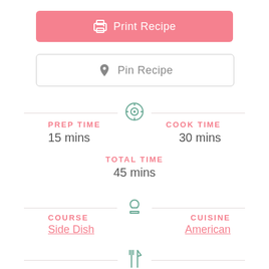[Figure (infographic): Pink button with printer icon and text 'Print Recipe']
[Figure (infographic): White button with Pinterest 'P' icon and text 'Pin Recipe']
PREP TIME
15 mins
COOK TIME
30 mins
TOTAL TIME
45 mins
COURSE
Side Dish
CUISINE
American